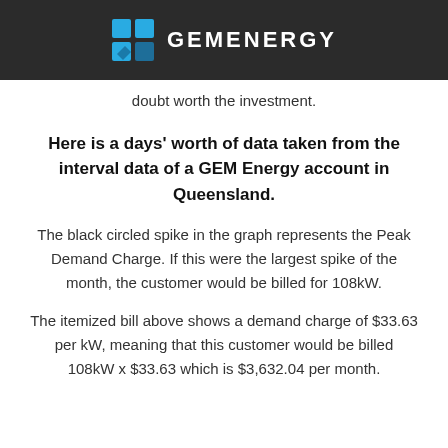GEM ENERGY
doubt worth the investment.
Here is a days' worth of data taken from the interval data of a GEM Energy account in Queensland.
The black circled spike in the graph represents the Peak Demand Charge. If this were the largest spike of the month, the customer would be billed for 108kW.
The itemized bill above shows a demand charge of $33.63 per kW, meaning that this customer would be billed 108kW x $33.63 which is $3,632.04 per month.